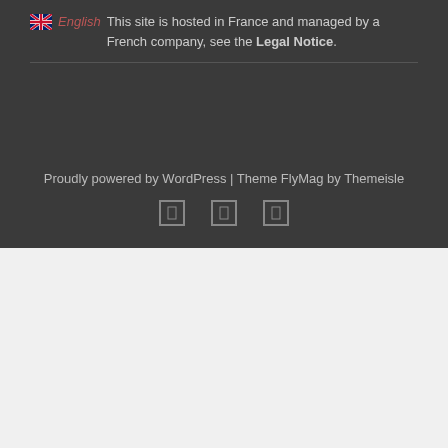English This site is hosted in France and managed by a French company, see the Legal Notice.
Proudly powered by WordPress | Theme FlyMag by Themeisle